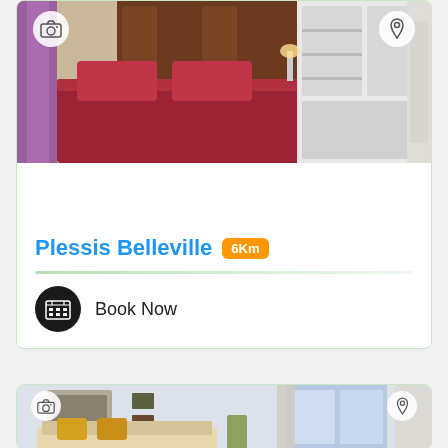[Figure (photo): Bedroom photo with red bedspread and wooden headboard, white wardrobe/shelving on the right, camera icon top-left, map pin icon top-right]
Plessis Belleville 6Km
Book Now
[Figure (photo): Living room / bedroom photo showing decorative wall art, sofa with yellow pillows, window with curtains, camera icon top-left, map pin icon top-right]